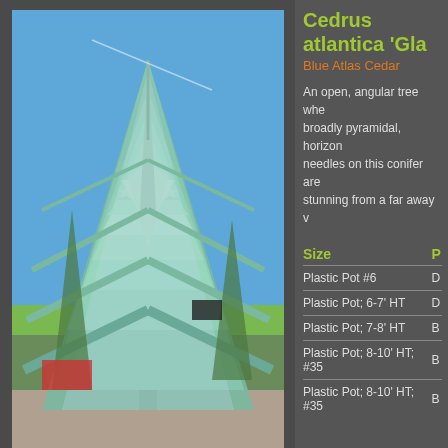[Figure (photo): Tall blue-green conifer tree (Blue Atlas Cedar) in nursery setting with blue sky background, navigation dots below]
Cedrus atlantica 'Gla
Blue Atlas Cedar
An open, angular tree whe broadly pyramidal, horizon needles on this conifer are stunning from a far away v
| Size |  |
| --- | --- |
| Plastic Pot #6 | D |
| Plastic Pot; 6-7' HT | D |
| Plastic Pot; 7-8' HT | B |
| Plastic Pot; 8-10' HT; #35 | B |
| Plastic Pot; 8-10' HT; #35 | B |
[Figure (photo): Close-up of blue-green conifer needles (Horstmann Atlas Cedar)]
Cedrus atlantica 'Ho
Horstmann Atlas Cedar